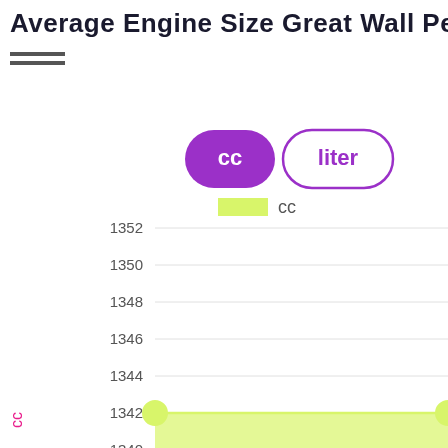Average Engine Size Great Wall Peri
[Figure (line-chart): Average Engine Size Great Wall Peri]